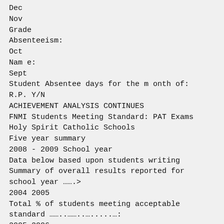Dec
Nov
Grade
Absenteeism:
Oct
Nam e:
Sept
Student Absentee days for the m onth of:
R.P. Y/N
ACHIEVEMENT ANALYSIS CONTINUES
FNMI Students Meeting Standard: PAT Exams
Holy Spirit Catholic Schools
Five year summary
2008 - 2009 School year
Data below based upon students writing
Summary of overall results reported for school year …….>
2004 2005
Total % of students meeting acceptable standard ……..……..….....…:
2005 2006
69.4%